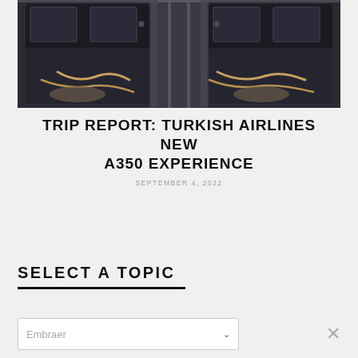[Figure (photo): Interior photo of Turkish Airlines A350 business class cabin showing dark-colored flatbed seats with beige seat belts and privacy dividers between seats, view looking down the aisle from above]
TRIP REPORT: TURKISH AIRLINES NEW A350 EXPERIENCE
SEPTEMBER 4, 2022
SELECT A TOPIC